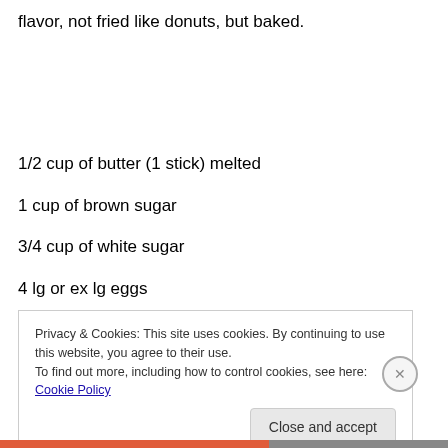flavor, not fried like donuts, but baked.
1/2 cup of butter (1 stick) melted
1 cup of brown sugar
3/4 cup of white sugar
4 lg or ex lg eggs
Privacy & Cookies: This site uses cookies. By continuing to use this website, you agree to their use.
To find out more, including how to control cookies, see here: Cookie Policy